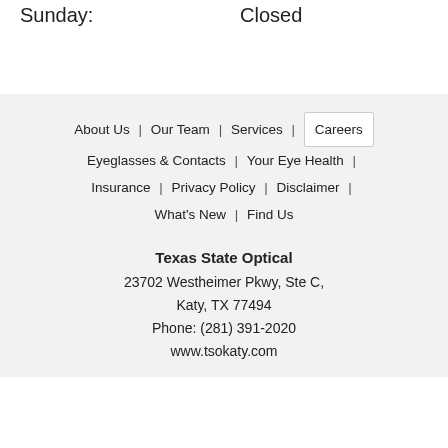Sunday:    Closed
About Us | Our Team | Services | Careers | Eyeglasses & Contacts | Your Eye Health | Insurance | Privacy Policy | Disclaimer | What's New | Find Us
Texas State Optical
23702 Westheimer Pkwy, Ste C,
Katy, TX 77494
Phone: (281) 391-2020
www.tsokaty.com